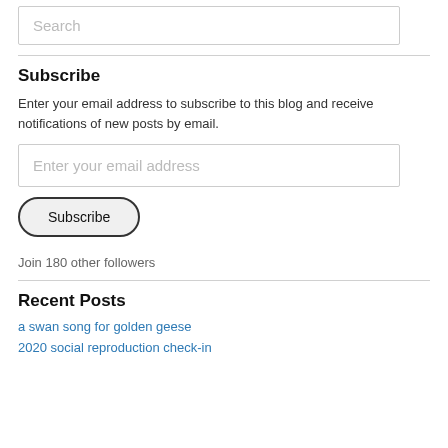Search
Subscribe
Enter your email address to subscribe to this blog and receive notifications of new posts by email.
Enter your email address
Subscribe
Join 180 other followers
Recent Posts
a swan song for golden geese
2020 social reproduction check-in